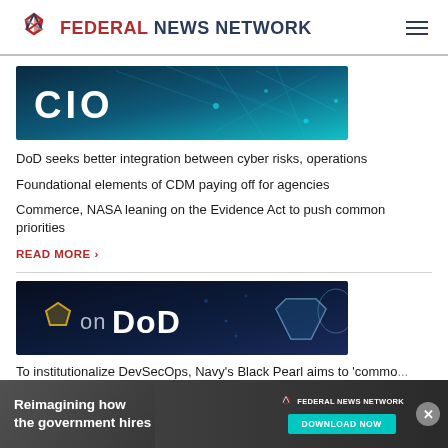Federal News Network
[Figure (screenshot): CIO banner image with teal/blue network background and white 'CIO' text]
DoD seeks better integration between cyber risks, operations
Foundational elements of CDM paying off for agencies
Commerce, NASA leaning on the Evidence Act to push common priorities
READ MORE >
[Figure (screenshot): On DoD banner image with dark blue background showing pentagon icon, 'OnDoD' text, and shield graphic]
To institutionalize DevSecOps, Navy's Black Pearl aims to 'commo...
Navy's d... ...h for
[Figure (screenshot): Advertisement banner: Reimagining how the government hires - Federal News Network Download Now]